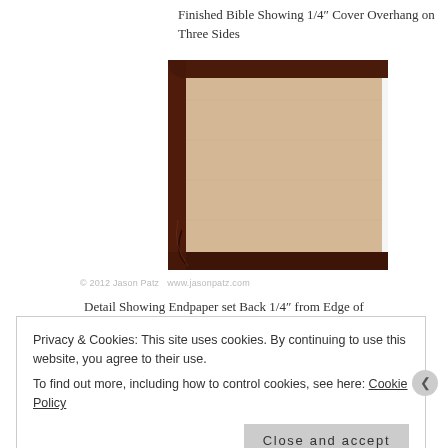Finished Bible Showing 1/4" Cover Overhang on Three Sides
[Figure (photo): Close-up photo of the corner of a leather-bound Bible showing the dark brown leather cover overlapping the tan/beige endpaper, demonstrating the 1/4-inch cover overhang on three sides. The corner shows the rounded leather edge with visible stitching.]
© 2012 Jason Patz  www.jasonpatz.com
Detail Showing Endpaper set Back 1/4" from Edge of
Privacy & Cookies: This site uses cookies. By continuing to use this website, you agree to their use.
To find out more, including how to control cookies, see here: Cookie Policy
Close and accept